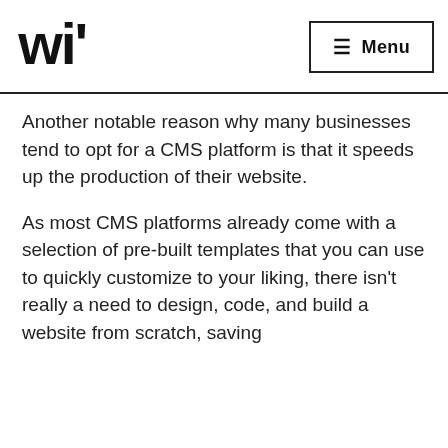[Figure (logo): wi' logo in bold black stylized lettering]
Menu
Another notable reason why many businesses tend to opt for a CMS platform is that it speeds up the production of their website.
As most CMS platforms already come with a selection of pre-built templates that you can use to quickly customize to your liking, there isn't really a need to design, code, and build a website from scratch, saving